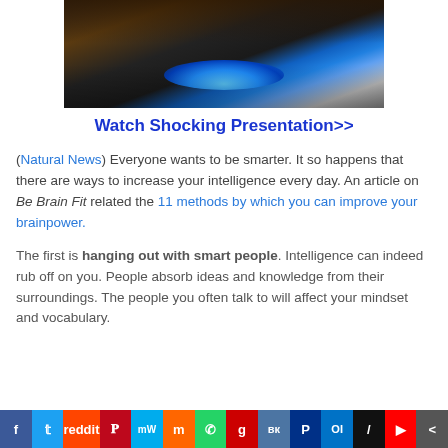[Figure (photo): A dark cooking pan over a blue gas flame on a stovetop]
Watch Shocking Presentation>>
(Natural News) Everyone wants to be smarter. It so happens that there are ways to increase your intelligence every day. An article on Be Brain Fit related the 11 methods by which you can improve your brainpower.
The first is hanging out with smart people. Intelligence can indeed rub off on you. People absorb ideas and knowledge from their surroundings. The people you often talk to will affect your mindset and vocabulary.
Share bar with social media icons: Facebook, Twitter, Reddit, Pinterest, MeWe, Mix, WhatsApp, Goodreads, VK, PayPal, Outlook, AL, YouTube, More